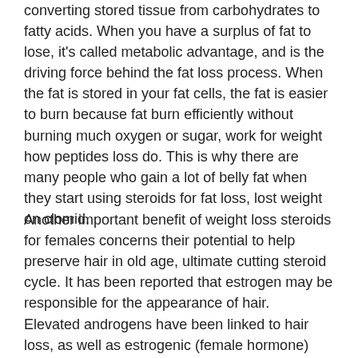converting stored tissue from carbohydrates to fatty acids. When you have a surplus of fat to lose, it's called metabolic advantage, and is the driving force behind the fat loss process. When the fat is stored in your fat cells, the fat is easier to burn because fat burn efficiently without burning much oxygen or sugar, work for weight how peptides loss do. This is why there are many people who gain a lot of belly fat when they start using steroids for fat loss, lost weight on clomid.
Another important benefit of weight loss steroids for females concerns their potential to help preserve hair in old age, ultimate cutting steroid cycle. It has been reported that estrogen may be responsible for the appearance of hair.
Elevated androgens have been linked to hair loss, as well as estrogenic (female hormone) properties, is it possible to lose weight when